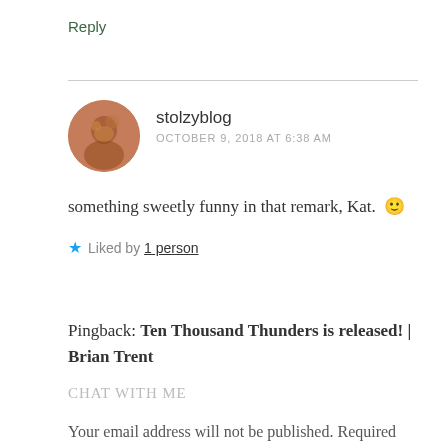Reply
[Figure (photo): Circular avatar photo of user stolzyblog showing a person in warm tones]
stolzyblog
OCTOBER 9, 2018 AT 6:38 AM
something sweetly funny in that remark, Kat. 🙂
★ Liked by 1 person
Pingback: Ten Thousand Thunders is released! | Brian Trent
Chat with me
Your email address will not be published. Required